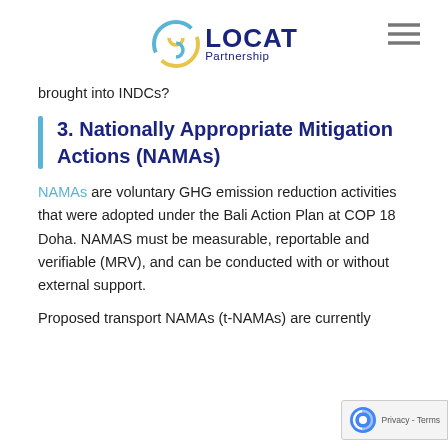SLOCAT Partnership
brought into INDCs?
3. Nationally Appropriate Mitigation Actions (NAMAs)
NAMAs are voluntary GHG emission reduction activities that were adopted under the Bali Action Plan at COP 18 Doha. NAMAS must be measurable, reportable and verifiable (MRV), and can be conducted with or without external support.
Proposed transport NAMAs (t-NAMAs) are currently